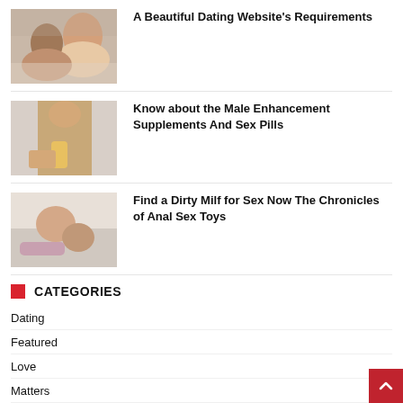[Figure (photo): Couple embracing, woman smiling]
A Beautiful Dating Website’s Requirements
[Figure (photo): Athletic man holding a yellow bottle/supplement]
Know about the Male Enhancement Supplements And Sex Pills
[Figure (photo): Two people in an intimate pose on a bed]
Find a Dirty Milf for Sex Now The Chronicles of Anal Sex Toys
CATEGORIES
Dating
Featured
Love
Matters